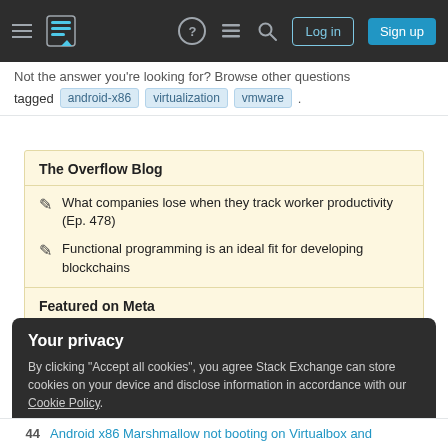Stack Exchange navigation header with Log in and Sign up buttons
Not the answer you're looking for? Browse other questions tagged android-x86 virtualization vmware .
The Overflow Blog
What companies lose when they track worker productivity (Ep. 478)
Functional programming is an ideal fit for developing blockchains
Featured on Meta
Your privacy
By clicking "Accept all cookies", you agree Stack Exchange can store cookies on your device and disclose information in accordance with our Cookie Policy.
Accept all cookies  Customize settings
44   Android x86 Marshmallow not booting on Virtualbox and